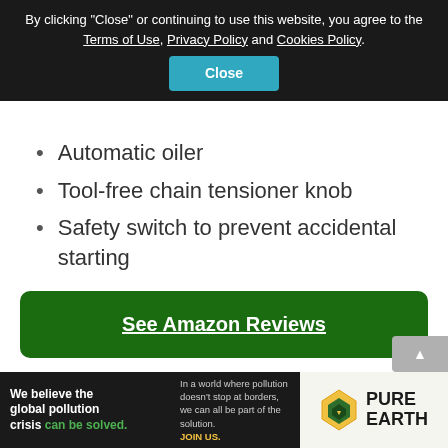By clicking "Close" or continuing to use this website, you agree to the Terms of Use, Privacy Policy and Cookies Policy.
Close
Automatic oiler
Tool-free chain tensioner knob
Safety switch to prevent accidental starting
See Amazon Reviews
[Figure (infographic): Pure Earth advertisement banner: 'We believe the global pollution crisis can be solved.' with Pure Earth logo.]